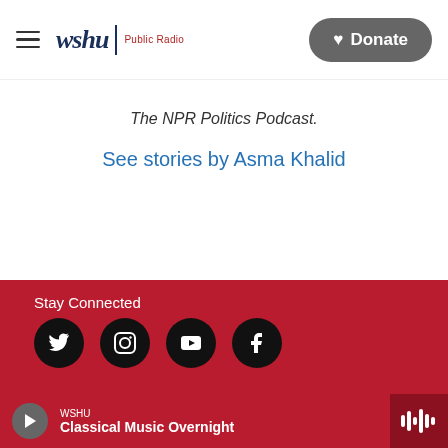wshu | Public Radio — Donate
The NPR Politics Podcast.
See stories by Asma Khalid
Stay Connected
[Figure (other): Social media icons: Twitter, Instagram, YouTube, Facebook]
WSHU Classical Music Overnight